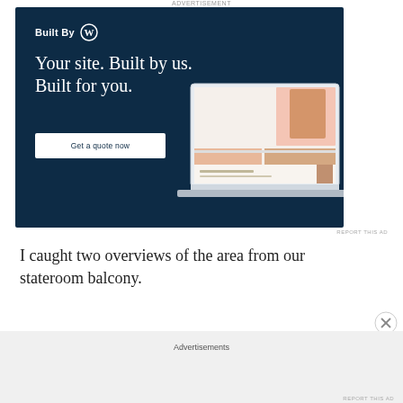ADVERTISEMENT
[Figure (photo): WordPress 'Built By' advertisement banner with dark navy background. Shows 'Built By' with WordPress logo, headline 'Your site. Built by us. Built for you.', a 'Get a quote now' button, and a laptop mockup showing a fashion/clothing website.]
REPORT THIS AD
I caught two overviews of the area from our stateroom balcony.
Advertisements
REPORT THIS AD